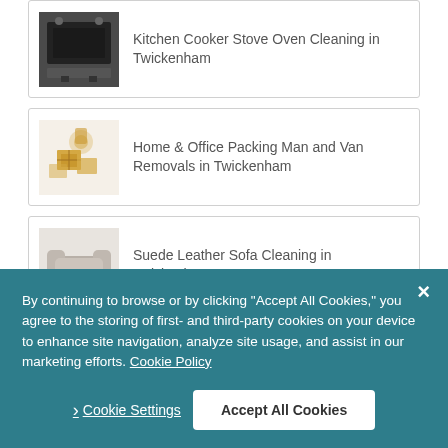Kitchen Cooker Stove Oven Cleaning in Twickenham
Home & Office Packing Man and Van Removals in Twickenham
Suede Leather Sofa Cleaning in Twickenham
Domestic & Commercial Window Cleaning in Twickenham
Oriental Wool Synthetic Natural Fibre Dry Or Steam Rug
By continuing to browse or by clicking “Accept All Cookies,” you agree to the storing of first- and third-party cookies on your device to enhance site navigation, analyze site usage, and assist in our marketing efforts. Cookie Policy
Cookie Settings
Accept All Cookies